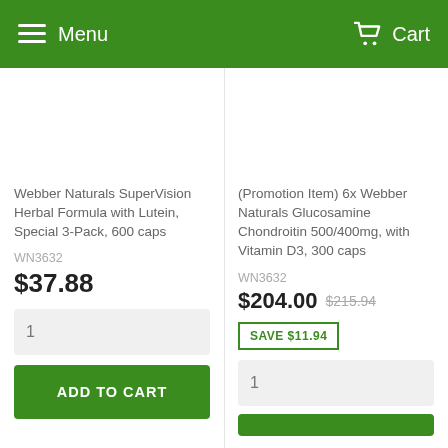Menu  Cart
Webber Naturals SuperVision Herbal Formula with Lutein, Special 3-Pack, 600 caps
WN3632
$37.88
1
ADD TO CART
(Promotion Item) 6x Webber Naturals Glucosamine Chondroitin 500/400mg, with Vitamin D3, 300 caps
WN3632
$204.00  $215.94
SAVE $11.94
1